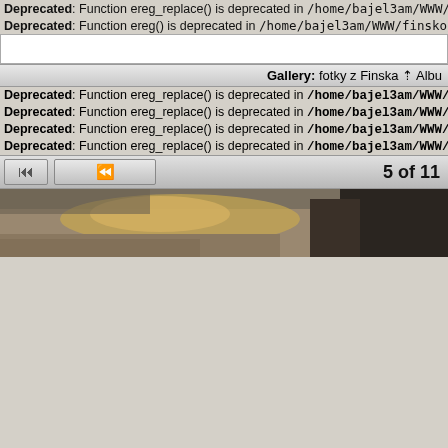Deprecated: Function ereg_replace() is deprecated in /home/bajel3am/WWW/finsko/fotky/lib/url.
Deprecated: Function ereg() is deprecated in /home/bajel3am/WWW/finsko/fo
Gallery: fotky z Finska ⇧ Albu
Deprecated: Function ereg_replace() is deprecated in /home/bajel3am/WWW/finsko/fotky/lib/url.
Deprecated: Function ereg_replace() is deprecated in /home/bajel3am/WWW/finsko/fotky/lib/url.
Deprecated: Function ereg_replace() is deprecated in /home/bajel3am/WWW/finsko/fotky/lib/url.
Deprecated: Function ereg_replace() is deprecated in /home/bajel3am/WWW/finsko/fotky/lib/url.
5 of 11
[Figure (photo): A partial strip photo showing a landscape/building scene with dark and golden tones, clipped at page edge.]